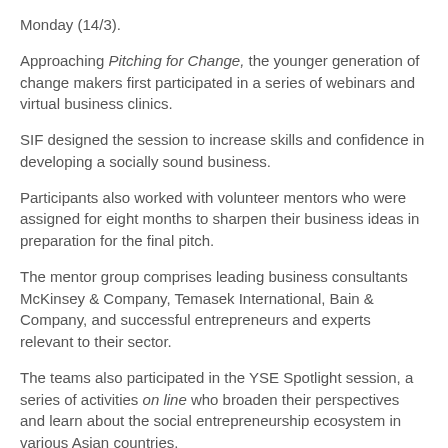Monday (14/3).
Approaching Pitching for Change, the younger generation of change makers first participated in a series of webinars and virtual business clinics.
SIF designed the session to increase skills and confidence in developing a socially sound business.
Participants also worked with volunteer mentors who were assigned for eight months to sharpen their business ideas in preparation for the final pitch.
The mentor group comprises leading business consultants McKinsey & Company, Temasek International, Bain & Company, and successful entrepreneurs and experts relevant to their sector.
The teams also participated in the YSE Spotlight session, a series of activities on line who broaden their perspectives and learn about the social entrepreneurship ecosystem in various Asian countries.